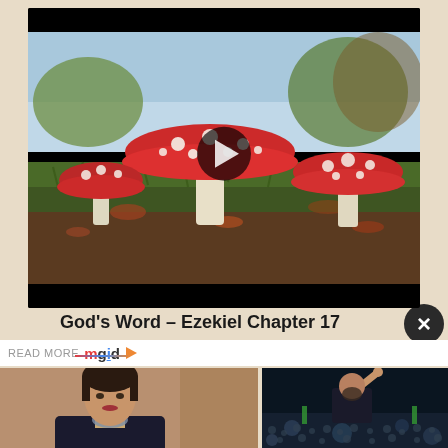[Figure (screenshot): Video thumbnail showing red-and-white spotted mushrooms (Amanita muscaria) in a forest scene with a play button overlay. Black bars at top and bottom.]
God's Word – Ezekiel Chapter 17
READ MORE mgid ▶
[Figure (photo): Photo of a young woman in a flight attendant uniform with a scarf]
[Figure (photo): Photo of a man with beard raising his hand at a large crowd event]